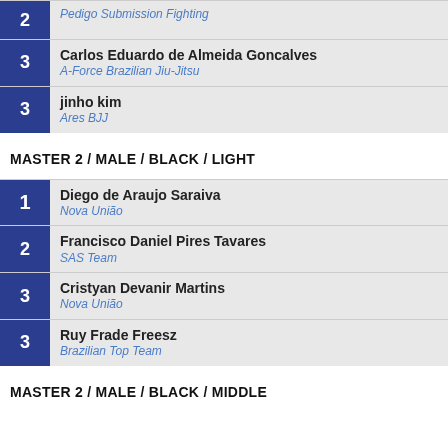2 — Pedigo Submission Fighting
3 — Carlos Eduardo de Almeida Goncalves — A-Force Brazilian Jiu-Jitsu
3 — jinho kim — Ares BJJ
MASTER 2 / MALE / BLACK / LIGHT
1 — Diego de Araujo Saraiva — Nova União
2 — Francisco Daniel Pires Tavares — SAS Team
3 — Cristyan Devanir Martins — Nova União
3 — Ruy Frade Freesz — Brazilian Top Team
MASTER 2 / MALE / BLACK / MIDDLE